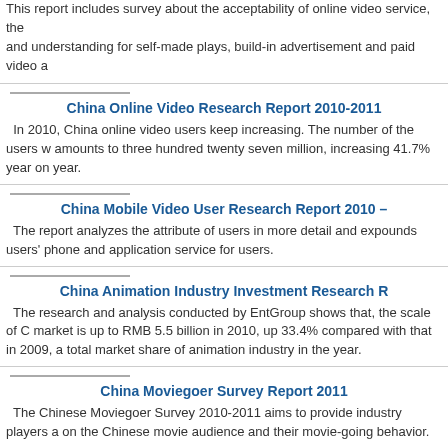This report includes survey about the acceptability of online video service, the and understanding for self-made plays, build-in advertisement and paid video a
China Online Video Research Report 2010-2011
In 2010, China online video users keep increasing. The number of the users w amounts to three hundred twenty seven million, increasing 41.7% year on year.
China Mobile Video User Research Report 2010 –
The report analyzes the attribute of users in more detail and expounds users' phone and application service for users.
China Animation Industry Investment Research R
The research and analysis conducted by EntGroup shows that, the scale of C market is up to RMB 5.5 billion in 2010, up 33.4% compared with that in 2009, a total market share of animation industry in the year.
China Moviegoer Survey Report 2011
The Chinese Moviegoer Survey 2010-2011 aims to provide industry players a on the Chinese movie audience and their movie-going behavior.